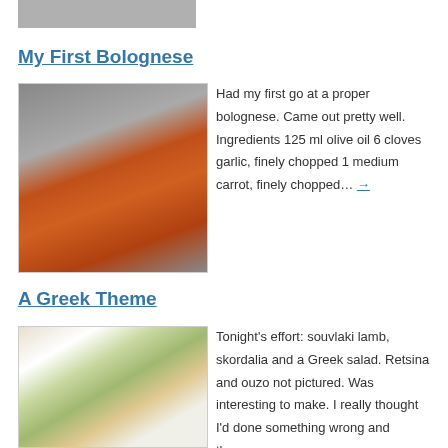[Figure (photo): Partial top of a food photo, cropped at top of page]
My First Bolognese
[Figure (photo): Photo of a pot with orange/red bolognese sauce cooking on a stove, with a wooden spoon]
Had my first go at a proper bolognese. Came out pretty well. Ingredients 125 ml olive oil 6 cloves garlic, finely chopped 1 medium carrot, finely chopped… →
A Greek Theme
[Figure (photo): Photo of a white plate with souvlaki lamb, skordalia and a Greek salad with tomatoes, cucumbers and feta]
Tonight's effort: souvlaki lamb, skordalia and a Greek salad. Retsina and ouzo not pictured. Was interesting to make. I really thought I'd done something wrong and then…. →